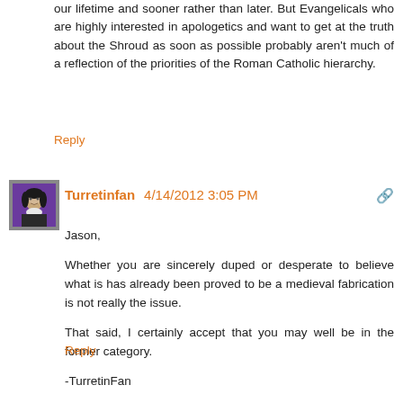our lifetime and sooner rather than later. But Evangelicals who are highly interested in apologetics and want to get at the truth about the Shroud as soon as possible probably aren't much of a reflection of the priorities of the Roman Catholic hierarchy.
Reply
[Figure (illustration): Avatar image of Turretinfan — a small portrait with purple background showing a historical figure]
Turretinfan 4/14/2012 3:05 PM
Jason,
Whether you are sincerely duped or desperate to believe what is has already been proved to be a medieval fabrication is not really the issue.
That said, I certainly accept that you may well be in the former category.
-TurretinFan
Reply